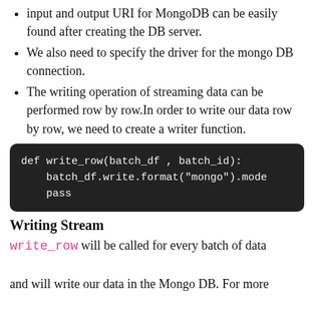input and output URI for MongoDB can be easily found after creating the DB server.
We also need to specify the driver for the mongo DB connection.
The writing operation of streaming data can be performed row by row.In order to write our data row by row, we need to create a writer function.
[Figure (screenshot): Dark code block showing Python function: def write_row(batch_df , batch_id): batch_df.write.format("mongo").mode pass]
Writing Stream
write_row will be called for every batch of data and will write our data in the Mongo DB. For more detailed information refer to this article